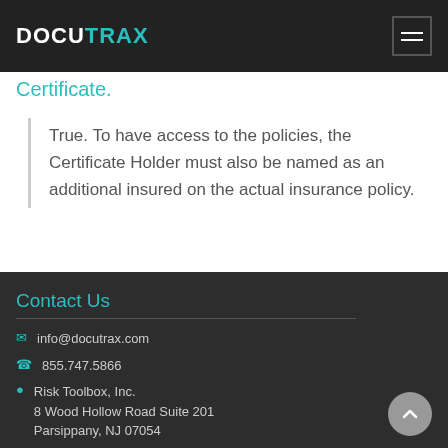DOCUTRAX
Certificate.
True. To have access to the policies, the Certificate Holder must also be named as an additional insured on the actual insurance policy.
Contact Us
info@docutrax.com
855.747.5866
Risk Toolbox, Inc.
8 Wood Hollow Road Suite 201
Parsippany, NJ 07054